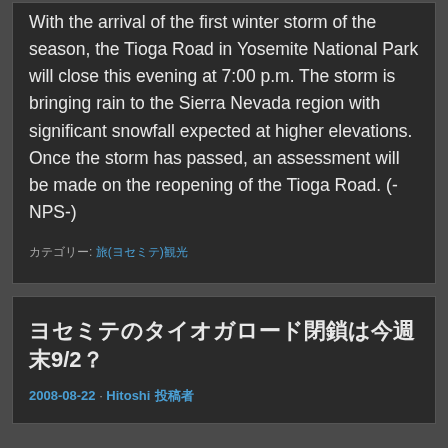With the arrival of the first winter storm of the season, the Tioga Road in Yosemite National Park will close this evening at 7:00 p.m. The storm is bringing rain to the Sierra Nevada region with significant snowfall expected at higher elevations.
Once the storm has passed, an assessment will be made on the reopening of the Tioga Road. (-NPS-)
カテゴリー: 旅(ヨセミテ)観光
ヨセミテのタイオガロード閉鎖は今週末9/2？
2008-08-22 · Hitoshi 投稿者